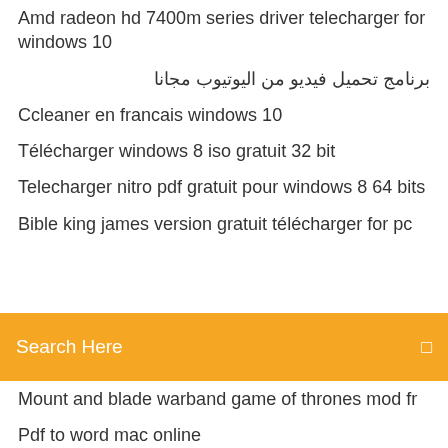Amd radeon hd 7400m series driver telecharger for windows 10
برنامج تحميل فيديو من اليوتيوب مجانا
Ccleaner en francais windows 10
Télécharger windows 8 iso gratuit 32 bit
Telecharger nitro pdf gratuit pour windows 8 64 bits
Bible king james version gratuit télécharger for pc
[Figure (screenshot): Orange search bar with placeholder text 'Search Here' and a search icon on the right]
Mount and blade warband game of thrones mod fr
Pdf to word mac online
Video player for android plays all formats
Realtek wireless driver windows 8.1 64 bit
Telecharger idm crack gratuit complet utorrent
Sims 2 für mac
Télécharger fastone image viewer gratuit
Minecraft a telecharger sur pc gratuit
Driver controleur ethernet windows 7 64 bits
Application pour ecrire sur photos